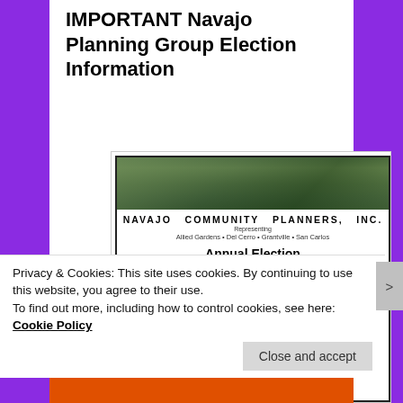IMPORTANT Navajo Planning Group Election Information
[Figure (screenshot): Navajo Community Planners, Inc. Annual Election flyer showing a landscape photo header, organization name, 'Annual Election Of the Board of Directors', electionbuddy Online Platform logo, and registration dates February 10th 2021 - March 5th 2021 by 6:00pm]
Privacy & Cookies: This site uses cookies. By continuing to use this website, you agree to their use.
To find out more, including how to control cookies, see here: Cookie Policy
Close and accept